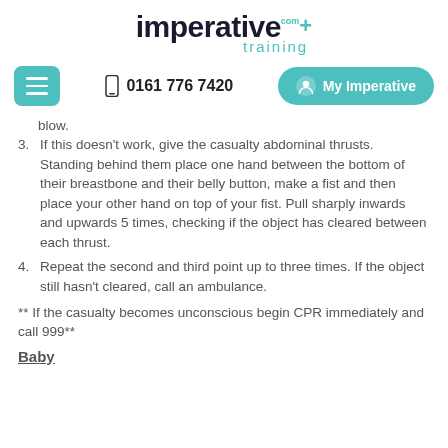[Figure (logo): Imperative Training logo with teal plus sign and 'imperative+ training' text]
[Figure (screenshot): Navigation bar with menu button, phone number 0161 776 7420, and My Imperative button]
blow.
3. If this doesn't work, give the casualty abdominal thrusts. Standing behind them place one hand between the bottom of their breastbone and their belly button, make a fist and then place your other hand on top of your fist. Pull sharply inwards and upwards 5 times, checking if the object has cleared between each thrust.
4. Repeat the second and third point up to three times. If the object still hasn't cleared, call an ambulance.
** If the casualty becomes unconscious begin CPR immediately and call 999**
Baby